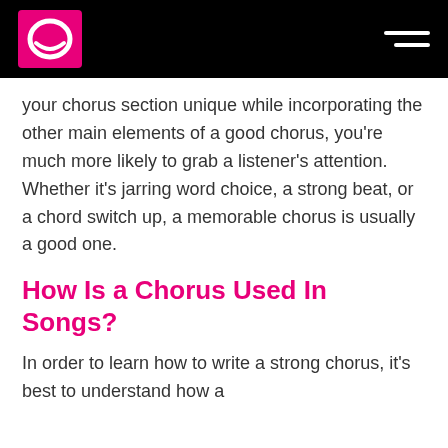your chorus section unique while incorporating the other main elements of a good chorus, you're much more likely to grab a listener's attention. Whether it's jarring word choice, a strong beat, or a chord switch up, a memorable chorus is usually a good one.
How Is a Chorus Used In Songs?
In order to learn how to write a strong chorus, it's best to understand how a